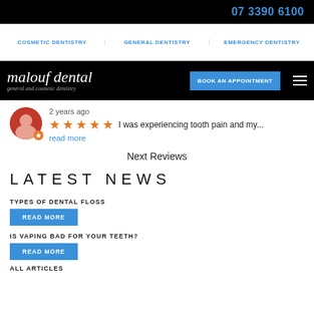07 3390 6100
COSMETIC DENTISTRY | GENERAL DENTISTRY | EMERGENCY DENTISTRY
malouf dental general and cosmetic dentistry | BOOK AN APPOINTMENT
2 years ago
★★★★★ I was experiencing tooth pain and my...
read more
Next Reviews
LATEST NEWS
TYPES OF DENTAL FLOSS
READ MORE
IS VAPING BAD FOR YOUR TEETH?
READ MORE
ALL ARTICLES